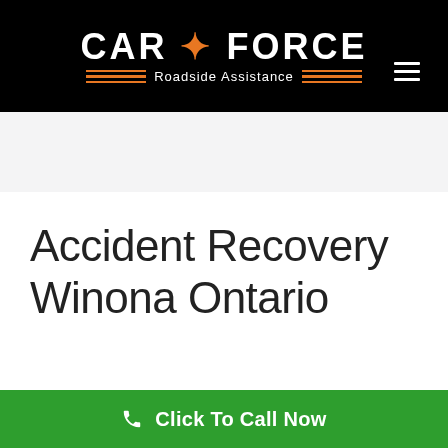CAR FORCE Roadside Assistance
Accident Recovery Winona Ontario
Winona Ontario 905 867 1500
Click To Call Now